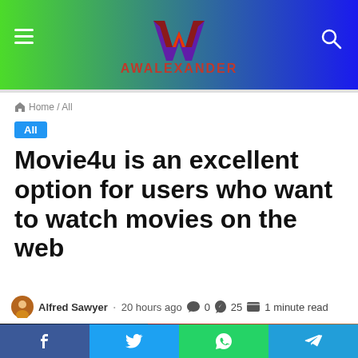AWALEXANDER
Home / All
All
Movie4u is an excellent option for users who want to watch movies on the web
Alfred Sawyer · 20 hours ago  0  25  1 minute read
[Figure (photo): Thumbnail strip showing movie images including Jurassic Park and other films]
Facebook Twitter WhatsApp Telegram social share buttons